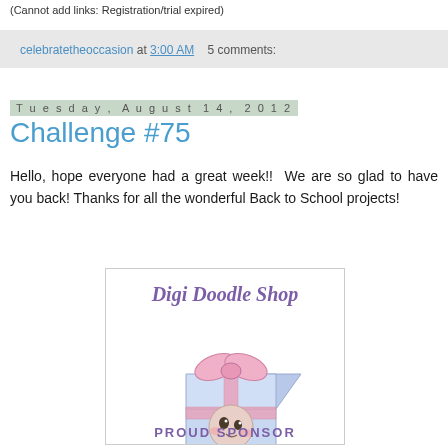(Cannot add links: Registration/trial expired)
celebratetheoccasion at 3:00 AM   5 comments:
Tuesday, August 14, 2012
Challenge #75
Hello, hope everyone had a great week!!  We are so glad to have you back! Thanks for all the wonderful Back to School projects!
[Figure (logo): Digi Doodle Shop Proud Sponsor logo with illustrated gift box character and cursive text]